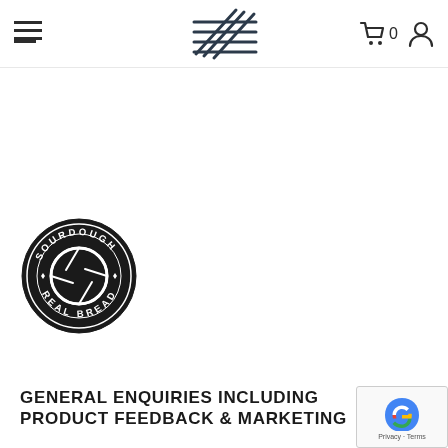Peters Yard navigation header with hamburger menu, logo, cart (0), and account icon
[Figure (logo): Sourdough Real Bread circular black badge logo with camera shutter design in center]
GENERAL ENQUIRIES INCLUDING PRODUCT FEEDBACK & MARKETING
naomi@petersyard.com